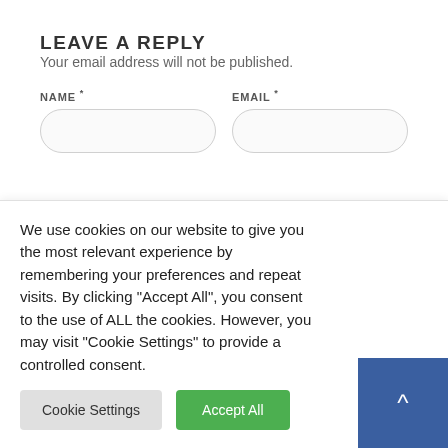LEAVE A REPLY
Your email address will not be published.
NAME *
EMAIL *
We use cookies on our website to give you the most relevant experience by remembering your preferences and repeat visits. By clicking “Accept All”, you consent to the use of ALL the cookies. However, you may visit "Cookie Settings" to provide a controlled consent.
Cookie Settings
Accept All